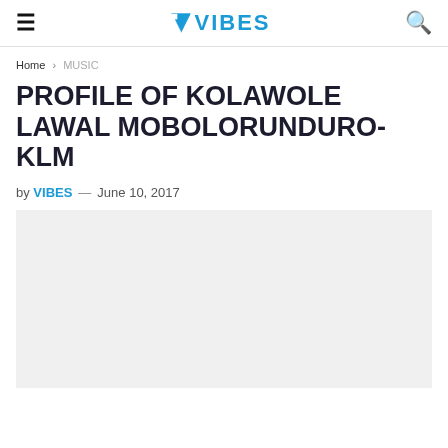≡  VIBES  🔍
Home › MUSIC
PROFILE OF KOLAWOLE LAWAL MOBOLORUNDURO-KLM
by VIBES — June 10, 2017
[Figure (photo): Featured image placeholder, light gray background]